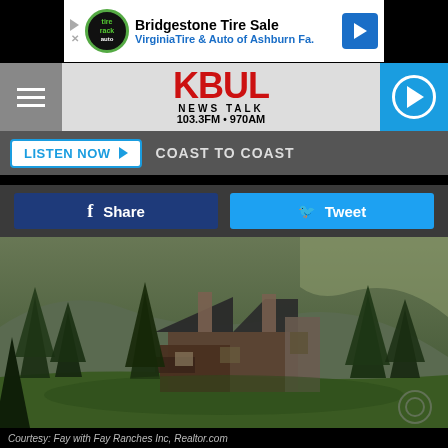[Figure (screenshot): Advertisement banner for Bridgestone Tire Sale — Virginia Tire & Auto of Ashburn Fa.]
[Figure (logo): KBUL News Talk 103.3FM • 970AM radio station logo with hamburger menu and play button]
LISTEN NOW ▶   COAST TO COAST
f Share   Tweet
[Figure (photo): Scenic Montana ranch house with stone and log construction surrounded by evergreen trees against mountain backdrop]
Courtesy: Fay with Fay Ranches Inc, Realtor.com